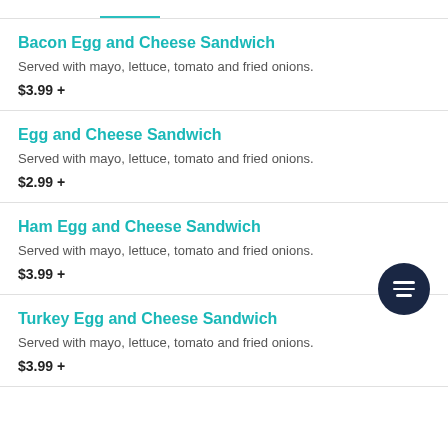Bacon Egg and Cheese Sandwich
Served with mayo, lettuce, tomato and fried onions.
$3.99 +
Egg and Cheese Sandwich
Served with mayo, lettuce, tomato and fried onions.
$2.99 +
Ham Egg and Cheese Sandwich
Served with mayo, lettuce, tomato and fried onions.
$3.99 +
Turkey Egg and Cheese Sandwich
Served with mayo, lettuce, tomato and fried onions.
$3.99 +